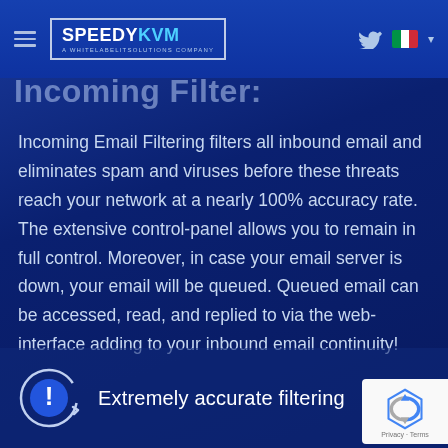SPEEDYKVM — A WHITELABELITSOLUTIONS COMPANY
Incoming Filter:
Incoming Email Filtering filters all inbound email and eliminates spam and viruses before these threats reach your network at a nearly 100% accuracy rate. The extensive control-panel allows you to remain in full control. Moreover, in case your email server is down, your email will be queued. Queued email can be accessed, read, and replied to via the web-interface adding to your inbound email continuity!
Extremely accurate filtering